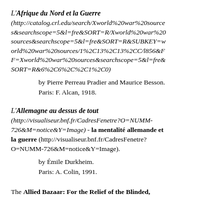L'Afrique du Nord et la Guerre (http://catalog.crl.edu/search/Xworld%20war%20sources&searchscope=5&l=fre&SORT=R/Xworld%20war%20sources&searchscope=5&l=fre&SORT=R&SUBKEY=world%20war%20sources/1%2C13%2C13%2CC/l856&FF=Xworld%20war%20sources&searchscope=5&l=fre&SORT=R&6%2C6%2C%2C1%2C0)
by Pierre Perreau Pradier and Maurice Besson. Paris: F. Alcan, 1918.
L'Allemagne au dessus de tout (http://visualiseur.bnf.fr/CadresFenetre?O=NUMM-726&M=notice&Y=Image) - la mentalité allemande et la guerre (http://visualiseur.bnf.fr/CadresFenetre?O=NUMM-726&M=notice&Y=Image).
by Émile Durkheim. Paris: A. Colin, 1991.
The Allied Bazaar: For the Relief of the Blinded,